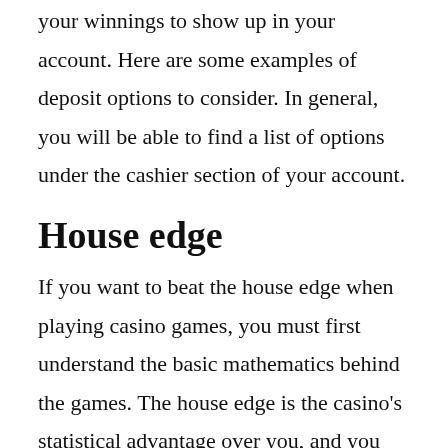your winnings to show up in your account. Here are some examples of deposit options to consider. In general, you will be able to find a list of options under the cashier section of your account.
House edge
If you want to beat the house edge when playing casino games, you must first understand the basic mathematics behind the games. The house edge is the casino's statistical advantage over you, and you can reduce it by selecting games that offer the lowest house edge. In addition to choosing